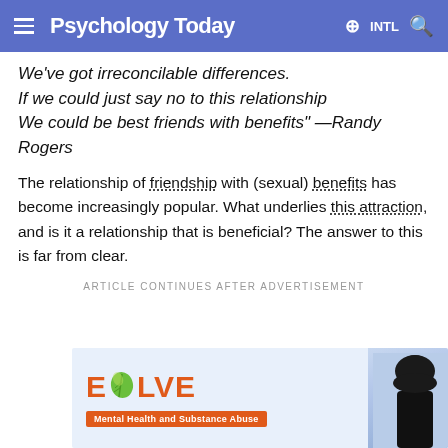Psychology Today  ⊕ INTL 🔍
We've got irreconcilable differences.
If we could just say no to this relationship
We could be best friends with benefits" —Randy Rogers
The relationship of friendship with (sexual) benefits has become increasingly popular. What underlies this attraction, and is it a relationship that is beneficial? The answer to this is far from clear.
ARTICLE CONTINUES AFTER ADVERTISEMENT
[Figure (photo): EVOLVE advertisement for Mental Health and Substance Abuse showing logo with green leaf and a person in a black hijab]